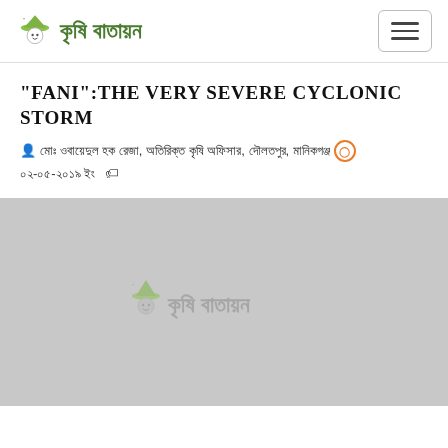কৃষি বাতায়ন
"FANI":THE VERY SEVERE CYCLONIC STORM
মোঃ ওবায়েদুল হক রেজা, অতিরিক্ত কৃষি অফিসার, দৌলতপুর, মানিকগঞ্জ ০২-০৫-২০১৯ ইং
[Figure (photo): Gray placeholder image with 'কৃষি বাতায়ন' watermark text]